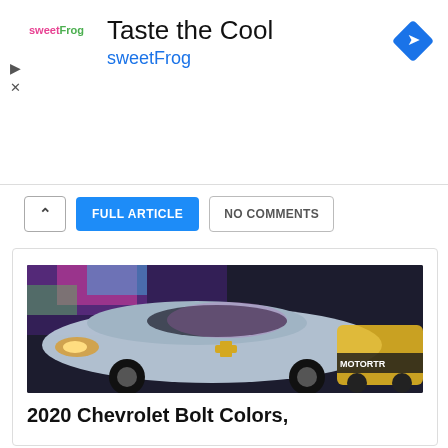[Figure (advertisement): SweetFrog 'Taste the Cool' advertisement banner with logo, blue navigation arrow icon on right, and play/close controls on left]
FULL ARTICLE
NO COMMENTS
[Figure (photo): 2020 Chevrolet Bolt silver electric car displayed at auto show, colorful backdrop, yellow car visible in background, MOTORTREND sign partially visible]
2020 Chevrolet Bolt Colors,